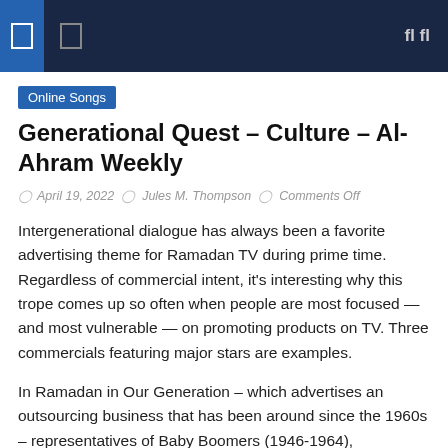Online Songs — navigation bar
Online Songs
Generational Quest – Culture – Al-Ahram Weekly
April 19, 2022  Jules M. Thompson  Comments Off
Intergenerational dialogue has always been a favorite advertising theme for Ramadan TV during prime time. Regardless of commercial intent, it's interesting why this trope comes up so often when people are most focused — and most vulnerable — on promoting products on TV. Three commercials featuring major stars are examples.
In Ramadan in Our Generation – which advertises an outsourcing business that has been around since the 1960s – representatives of Baby Boomers (1946-1964), Generation X (1965-1980) and Gen Z (1996-2010) discuss Ramadan as they